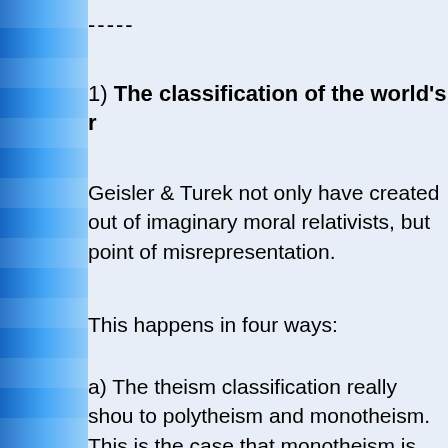-----
1) The classification of the world's r
Geisler & Turek not only have created out of imaginary moral relativists, but point of misrepresentation.
This happens in four ways:
a) The theism classification really shou to polytheism and monotheism. This is the case that monotheism is just simpli